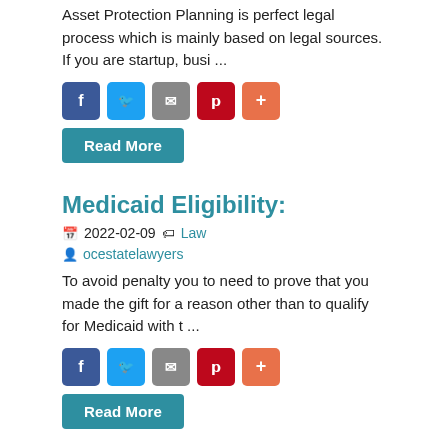Asset Protection Planning is perfect legal process which is mainly based on legal sources. If you are startup, busi ...
[Figure (other): Social share buttons: Facebook (blue), Twitter (light blue), Email (gray), Pinterest (red), Plus (orange)]
Read More
Medicaid Eligibility:
2022-02-09  Law
ocestatelawyers
To avoid penalty you to need to prove that you made the gift for a reason other than to qualify for Medicaid with t ...
[Figure (other): Social share buttons: Facebook (blue), Twitter (light blue), Email (gray), Pinterest (red), Plus (orange)]
Read More
Medicaid Planning Att
2022-01-19  Law